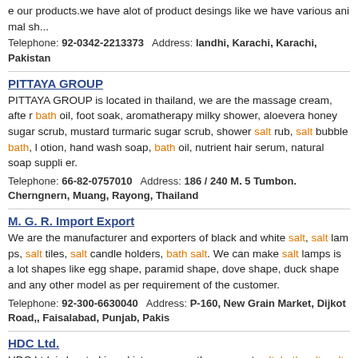e our products.we have alot of product desings like we have various animal sh...
Telephone: 92-0342-2213373  Address: landhi, Karachi, Karachi, Pakistan
PITTAYA GROUP
PITTAYA GROUP is located in thailand, we are the massage cream, after bath oil, foot soak, aromatherapy milky shower, aloevera honey sugar scrub, mustard turmaric sugar scrub, shower salt rub, salt bubble bath, lotion, hand wash soap, bath oil, nutrient hair serum, natural soap supplier.
Telephone: 66-82-0757010  Address: 186 / 240 M. 5 Tumbon. Cherngnern, Muang, Rayong, Thailand
M. G. R. Import Export
We are the manufacturer and exporters of black and white salt, salt lamps, salt tiles, salt candle holders, bath salt. We can make salt lamps is a lot shapes like egg shape, paramid shape, dove shape, duck shape and any other model as per requirement of the customer.
Telephone: 92-300-6630040  Address: P-160, New Grain Market, Dijkot Road,, Faisalabad, Punjab, Pakis
HDC Ltd.
HDC Ltd. is located in pakistan, we are the gourmet salt, bath salt, salt plate, salt tiles, salt slabs, salt lamps, salt bricks, salt lumps, rock salt, bla